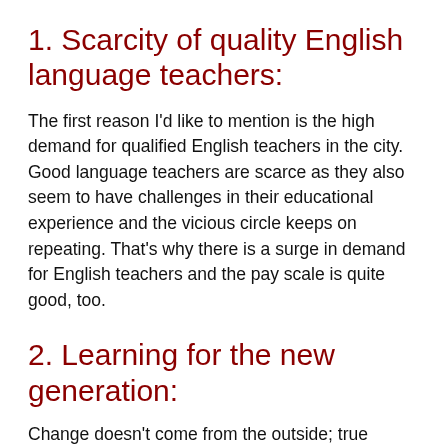1. Scarcity of quality English language teachers:
The first reason I'd like to mention is the high demand for qualified English teachers in the city. Good language teachers are scarce as they also seem to have challenges in their educational experience and the vicious circle keeps on repeating. That’s why there is a surge in demand for English teachers and the pay scale is quite good, too.
2. Learning for the new generation:
Change doesn’t come from the outside; true change comes from within. Therefore, if we are really looking for a better educational experience and better-skilled